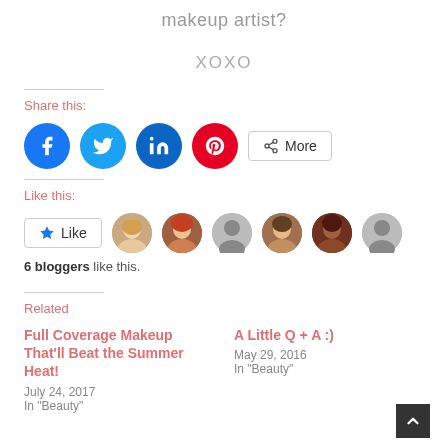makeup artist?
XOXO
Share this:
[Figure (infographic): Social media share buttons: Facebook (blue), Twitter (light blue), LinkedIn (dark blue), Pinterest (red), and a More button]
Like this:
[Figure (infographic): Like button with star icon and 6 blogger avatar thumbnails (2 photos, 2 silhouettes, 1 photo, 1 silhouette)]
6 bloggers like this.
Related
Full Coverage Makeup That'll Beat the Summer Heat!
July 24, 2017
In "Beauty"
A Little Q + A :)
May 29, 2016
In "Beauty"